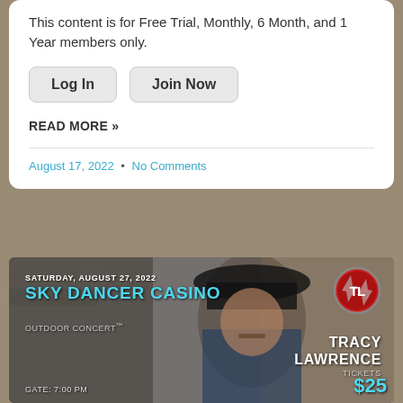This content is for Free Trial, Monthly, 6 Month, and 1 Year members only.
Log In
Join Now
READ MORE »
August 17, 2022  •  No Comments
[Figure (photo): Concert promotional image for Tracy Lawrence at Sky Dancer Casino Outdoor Concert on Saturday, August 27, 2022. Gate: 7:00 PM. Tickets $25. Features a man in a black cowboy hat and denim jacket against a stone wall background, with the TL logo in upper right.]